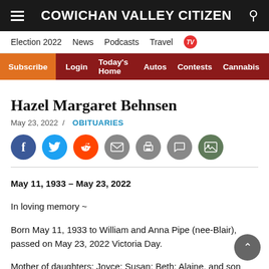COWICHAN VALLEY CITIZEN
Election 2022  News  Podcasts  Travel  TV
Subscribe  Login  Today's Home  Autos  Contests  Cannabis
Hazel Margaret Behnsen
May 23, 2022 / OBITUARIES
[Figure (other): Social sharing icons: Facebook, Twitter, Reddit, Email, Print, Comment, Gallery]
May 11, 1933 – May 23, 2022
In loving memory ~
Born May 11, 1933 to William and Anna Pipe (nee-Blair), passed on May 23, 2022 Victoria Day.
Mother of daughters: Joyce; Susan; Beth; Alaine, and son Billiam (and pre deceased by their father, Chris);